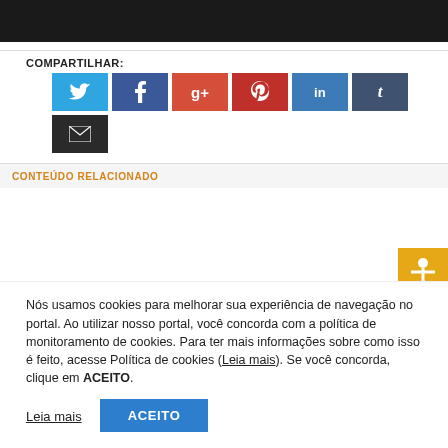[Figure (screenshot): Black banner/header bar at the top of the page]
COMPARTILHAR:
[Figure (infographic): Social sharing buttons: Twitter (blue), Facebook (dark blue), Google+ (red-orange), Pinterest (dark red), LinkedIn (blue), Tumblr (dark slate), Email (dark/black)]
CONTEÚDO RELACIONADO
Nós usamos cookies para melhorar sua experiência de navegação no portal. Ao utilizar nosso portal, você concorda com a política de monitoramento de cookies. Para ter mais informações sobre como isso é feito, acesse Política de cookies (Leia mais). Se você concorda, clique em ACEITO.
Leia mais   ACEITO